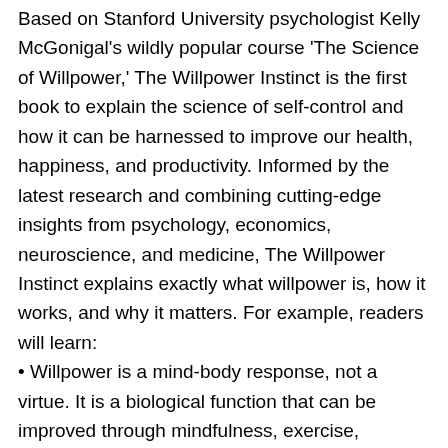Based on Stanford University psychologist Kelly McGonigal's wildly popular course 'The Science of Willpower,' The Willpower Instinct is the first book to explain the science of self-control and how it can be harnessed to improve our health, happiness, and productivity. Informed by the latest research and combining cutting-edge insights from psychology, economics, neuroscience, and medicine, The Willpower Instinct explains exactly what willpower is, how it works, and why it matters. For example, readers will learn:
• Willpower is a mind-body response, not a virtue. It is a biological function that can be improved through mindfulness, exercise, nutrition, and sleep. • Willpower is not an unlimited resource. Too much self-control can